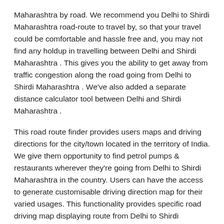Maharashtra by road. We recommend you Delhi to Shirdi Maharashtra road-route to travel by, so that your travel could be comfortable and hassle free and, you may not find any holdup in travelling between Delhi and Shirdi Maharashtra . This gives you the ability to get away from traffic congestion along the road going from Delhi to Shirdi Maharashtra . We've also added a separate distance calculator tool between Delhi and Shirdi Maharashtra .
This road route finder provides users maps and driving directions for the city/town located in the territory of India. We give them opportunity to find petrol pumps & restaurants wherever they're going from Delhi to Shirdi Maharashtra in the country. Users can have the access to generate customisable driving direction map for their varied usages. This functionality provides specific road driving map displaying route from Delhi to Shirdi Maharashtra for any given city/town within the region of India.
Simply put in Delhi and Shirdi Maharashtra into the respective text box given, and click to the 'Show Direction' button. This will show you the route map of the best Delhi to Shirdi Maharashtra road-route between the two places of your selected locations. Further, we aim to improve our services for the users. We value your